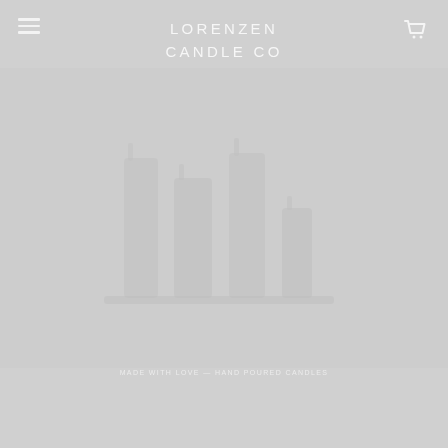LORENZEN CANDLE CO
[Figure (screenshot): Lorenzen Candle Co website screenshot. Light gray background with white semi-transparent header showing hamburger menu on left, brand name 'LORENZEN CANDLE CO' centered in spaced lettering, and shopping cart icon on right. Center area shows faint silhouette of candles/products against gray background. Bottom area has small centered tagline text.]
MADE WITH LOVE — HAND POURED CANDLES